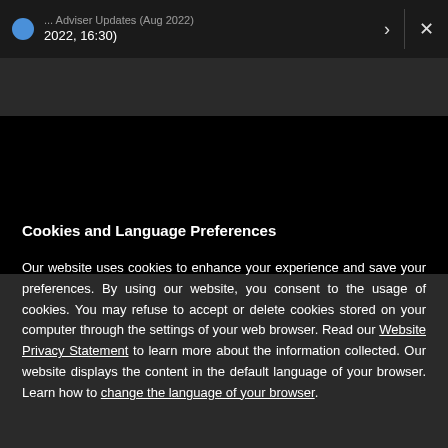2022, 16:30)
[Figure (screenshot): Black video player area]
Cookies and Language Preferences
Our website uses cookies to enhance your experience and save your preferences. By using our website, you consent to the usage of cookies. You may refuse to accept or delete cookies stored on your computer through the settings of your web browser. Read our Website Privacy Statement to learn more about the information collected. Our website displays the content in the default language of your browser. Learn how to change the language of your browser.